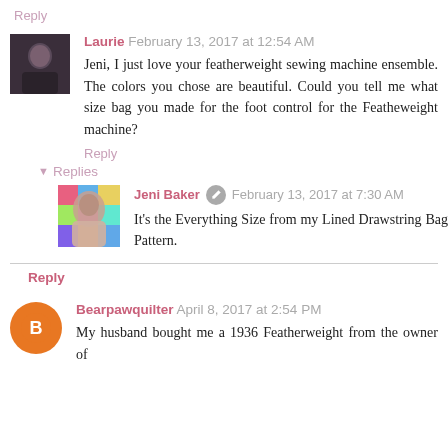Reply
Laurie  February 13, 2017 at 12:54 AM
Jeni, I just love your featherweight sewing machine ensemble. The colors you chose are beautiful. Could you tell me what size bag you made for the foot control for the Featheweight machine?
Reply
Replies
Jeni Baker  February 13, 2017 at 7:30 AM
It's the Everything Size from my Lined Drawstring Bag Pattern.
Reply
Bearpawquilter  April 8, 2017 at 2:54 PM
My husband bought me a 1936 Featherweight from the owner of